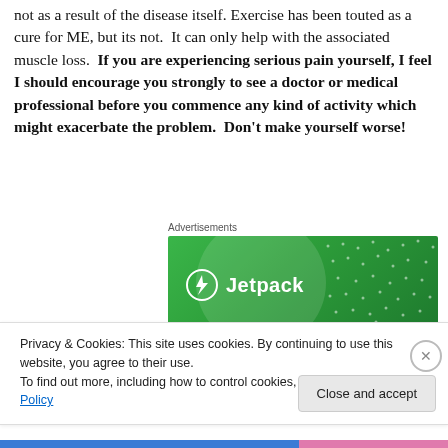not as a result of the disease itself. Exercise has been touted as a cure for ME, but its not.  It can only help with the associated muscle loss.  If you are experiencing serious pain yourself, I feel I should encourage you strongly to see a doctor or medical professional before you commence any kind of activity which might exacerbate the problem.  Don't make yourself worse!
[Figure (other): Jetpack advertisement banner with green gradient background, Jetpack logo (lightning bolt in circle) and text 'Jetpack' in white]
Privacy & Cookies: This site uses cookies. By continuing to use this website, you agree to their use.
To find out more, including how to control cookies, see here: Cookie Policy